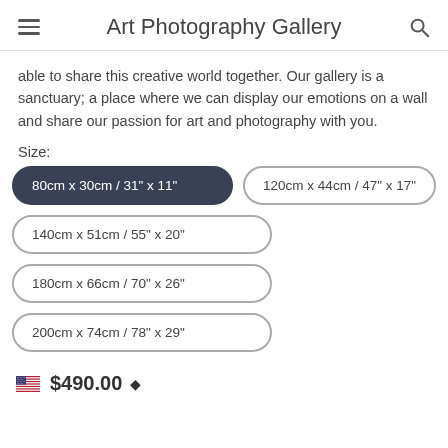Art Photography Gallery
able to share this creative world together. Our gallery is a sanctuary; a place where we can display our emotions on a wall and share our passion for art and photography with you.
Size:
80cm x 30cm / 31" x 11" (selected)
120cm x 44cm / 47" x 17"
140cm x 51cm / 55" x 20"
180cm x 66cm / 70" x 26"
200cm x 74cm / 78" x 29"
$490.00